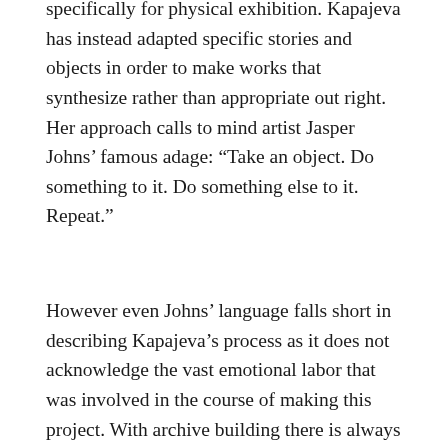specifically for physical exhibition. Kapajeva has instead adapted specific stories and objects in order to make works that synthesize rather than appropriate out right. Her approach calls to mind artist Jasper Johns' famous adage: “Take an object. Do something to it. Do something else to it. Repeat.”
However even Johns’ language falls short in describing Kapajeva’s process as it does not acknowledge the vast emotional labor that was involved in the course of making this project. With archive building there is always caretaking which, like textile arts, is still often thought of as “women’s